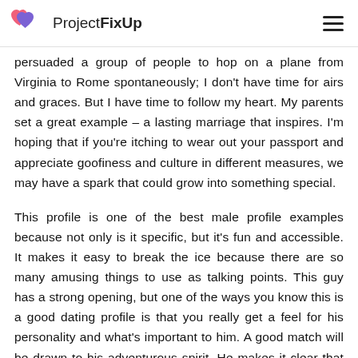ProjectFixUp
persuaded a group of people to hop on a plane from Virginia to Rome spontaneously; I don't have time for airs and graces. But I have time to follow my heart. My parents set a great example – a lasting marriage that inspires. I'm hoping that if you're itching to wear out your passport and appreciate goofiness and culture in different measures, we may have a spark that could grow into something special.
This profile is one of the best male profile examples because not only is it specific, but it's fun and accessible. It makes it easy to break the ice because there are so many amusing things to use as talking points. This guy has a strong opening, but one of the ways you know this is a good dating profile is that you really get a feel for his personality and what's important to him. A good match will be drawn to his adventurous spirit. He makes it clear that he's